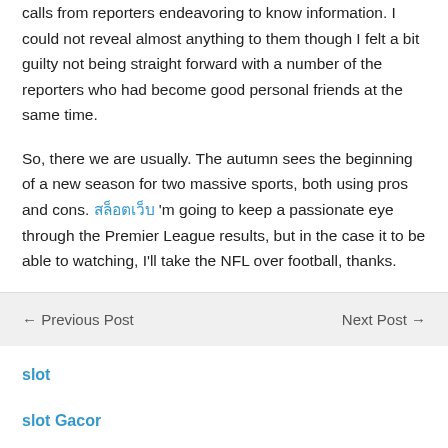calls from reporters endeavoring to know information. I could not reveal almost anything to them though I felt a bit guilty not being straight forward with a number of the reporters who had become good personal friends at the same time.
So, there we are usually. The autumn sees the beginning of a new season for two massive sports, both using pros and cons. สล็อตเว็บ 'm going to keep a passionate eye through the Premier League results, but in the case it to be able to watching, I'll take the NFL over football, thanks.
← Previous Post    Next Post →
slot
slot Gacor